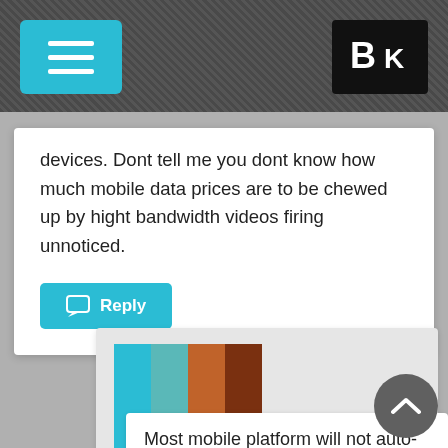Navigation bar with menu and logo
devices. Dont tell me you dont know how much mobile data prices are to be chewed up by hight bandwidth videos firing unnoticed.
Reply
[Figure (illustration): Colorful avatar/profile image with vertical stripes in teal, brown, and dark brown]
rohnn
July 3, 2015 at 8:49 am
Most mobile platform will not auto-play any HTML5 vid... Exactly because of your fears,